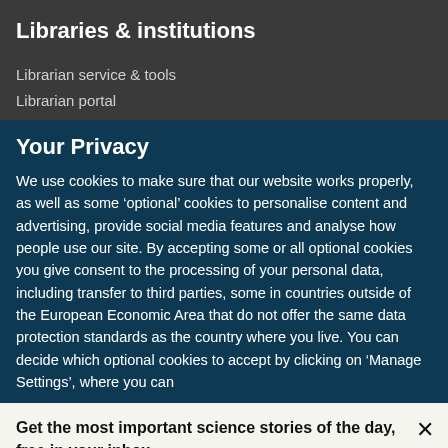Libraries & institutions
Librarian service & tools
Librarian portal
Your Privacy
We use cookies to make sure that our website works properly, as well as some ‘optional’ cookies to personalise content and advertising, provide social media features and analyse how people use our site. By accepting some or all optional cookies you give consent to the processing of your personal data, including transfer to third parties, some in countries outside of the European Economic Area that do not offer the same data protection standards as the country where you live. You can decide which optional cookies to accept by clicking on ‘Manage Settings’, where you can
Get the most important science stories of the day, free in your inbox.
Sign up for Nature Briefing